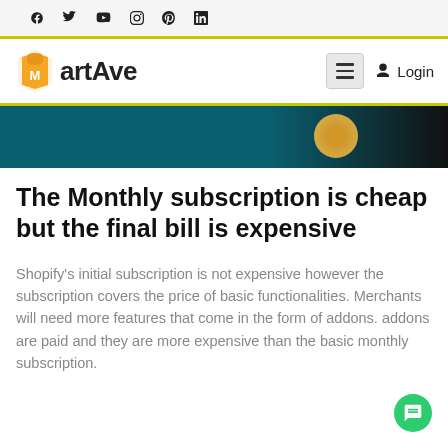Social media icons bar: Facebook, Twitter, YouTube, Instagram, Pinterest, LinkedIn
MartAve — navigation bar with hamburger menu and Login
[Figure (photo): Partial hero image with teal/dark background and circular orange/gold element]
The Monthly subscription is cheap but the final bill is expensive
Shopify's initial subscription is not expensive however the subscription covers the price of basic functionalities. Merchants will need more features that come in the form of addons. addons are paid and they are more expensive than the basic monthly subscription.